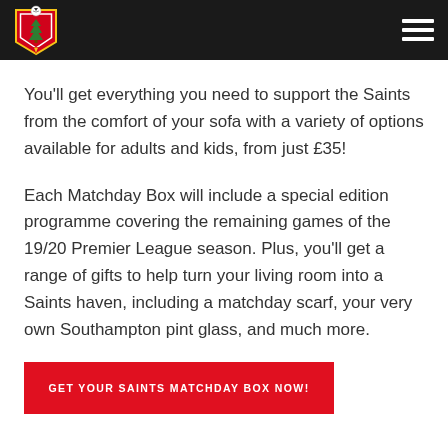[Figure (logo): Southampton FC club crest badge logo in red and white with football]
You'll get everything you need to support the Saints from the comfort of your sofa with a variety of options available for adults and kids, from just £35!
Each Matchday Box will include a special edition programme covering the remaining games of the 19/20 Premier League season. Plus, you'll get a range of gifts to help turn your living room into a Saints haven, including a matchday scarf, your very own Southampton pint glass, and much more.
GET YOUR SAINTS MATCHDAY BOX NOW!